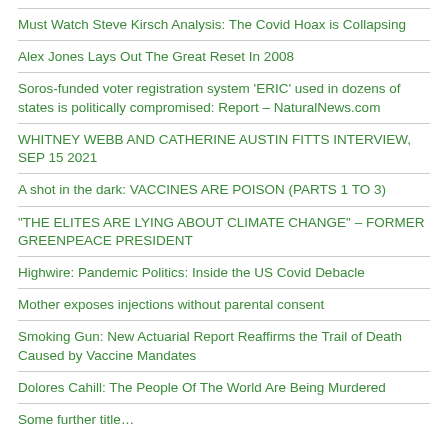Must Watch Steve Kirsch Analysis: The Covid Hoax is Collapsing
Alex Jones Lays Out The Great Reset In 2008
Soros-funded voter registration system ‘ERIC’ used in dozens of states is politically compromised: Report – NaturalNews.com
WHITNEY WEBB AND CATHERINE AUSTIN FITTS INTERVIEW, SEP 15 2021
A shot in the dark: VACCINES ARE POISON (PARTS 1 TO 3)
“THE ELITES ARE LYING ABOUT CLIMATE CHANGE” – FORMER GREENPEACE PRESIDENT
Highwire: Pandemic Politics: Inside the US Covid Debacle
Mother exposes injections without parental consent
Smoking Gun: New Actuarial Report Reaffirms the Trail of Death Caused by Vaccine Mandates
Dolores Cahill: The People Of The World Are Being Murdered
Some further title…